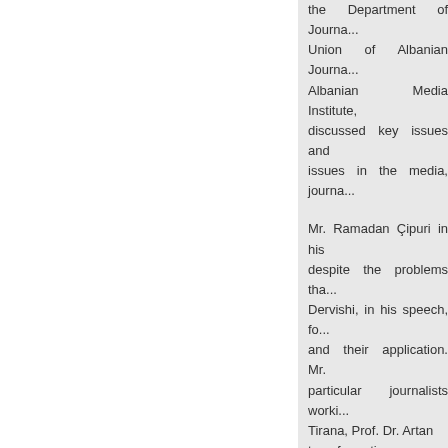the Department of Journa... Union of Albanian Journa... Albanian Media Institute, discussed key issues and issues in the media, journa...
Mr. Ramadan Çipuri in his despite the problems tha... Dervishi, in his speech, fo... and their application. Mr. particular journalists worki... Tirana, Prof. Dr. Artan transformation.
03 May 2012
Workshop: Albanian Loc...
On the occasion of World (Bedër) University, in coo... organized on 03.05.2013 reality "
The workshop subject attr...